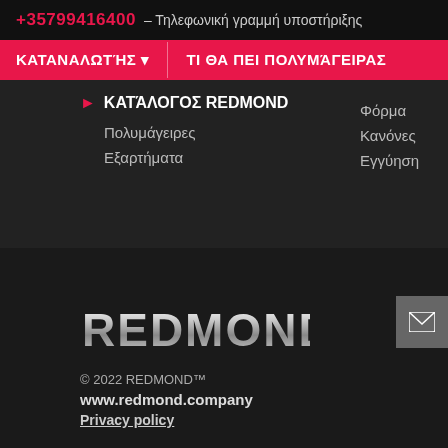+35799416400 – Τηλεφωνική γραμμή υποστήριξης
ΚΑΤΑΝΑΛΩΤΉΣ ▾   ΤΙ ΘΑ ΠΕΙ ΠΟΛΥΜΆΓΕΙΡΑΣ
ΚΑΤΆΛΟΓΟΣ REDMOND
Πολυμάγειρες
Εξαρτήματα
Φόρμα
Κανόνες
Εγγύηση
[Figure (logo): REDMOND brand logo in metallic silver text on dark background]
© 2022 REDMOND™
www.redmond.company
Privacy policy